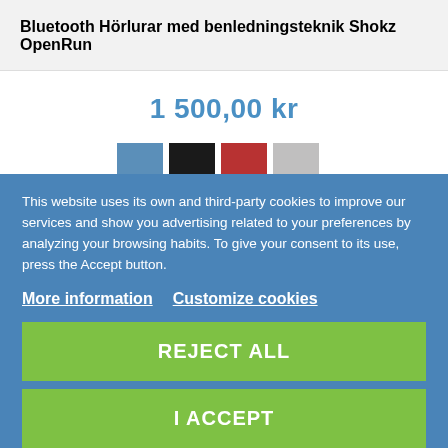Bluetooth Hörlurar med benledningsteknik Shokz OpenRun
1 500,00 kr
[Figure (other): Four color swatches: blue, black, red, gray]
DETALJER
This website uses its own and third-party cookies to improve our services and show you advertising related to your preferences by analyzing your browsing habits. To give your consent to its use, press the Accept button.
More information  Customize cookies
REJECT ALL
I ACCEPT